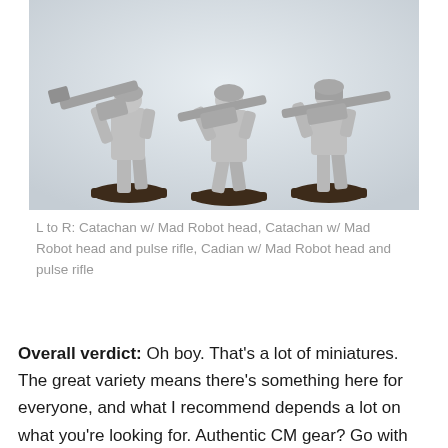[Figure (photo): Three grey unpainted miniature soldier figurines holding large futuristic rifles, posed in combat stances on dark circular bases, photographed against a light grey background.]
L to R: Catachan w/ Mad Robot head, Catachan w/ Mad Robot head and pulse rifle, Cadian w/ Mad Robot head and pulse rifle
Overall verdict: Oh boy. That's a lot of miniatures. The great variety means there's something here for everyone, and what I recommend depends a lot on what you're looking for. Authentic CM gear? Go with Woodbine. Not cartoony enough? Turn to ERM. Too cartoony? Try Denizen. Too small? Check out em4. Still too small? Copplestone. STILL too small? Fenryll. Want to do Starship Troopers as well? 1st Corps. Need more generic